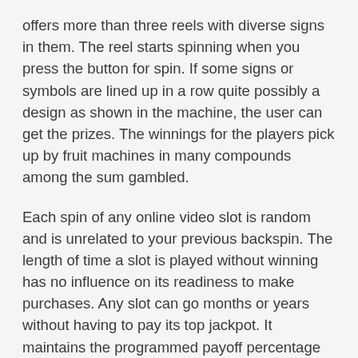offers more than three reels with diverse signs in them. The reel starts spinning when you press the button for spin. If some signs or symbols are lined up in a row quite possibly a design as shown in the machine, the user can get the prizes. The winnings for the players pick up by fruit machines in many compounds among the sum gambled.
Each spin of any online video slot is random and is unrelated to your previous backspin. The length of time a slot is played without winning has no influence on its readiness to make purchases. Any slot can go months or years without having to pay its top jackpot. It maintains the programmed payoff percentage via paying smaller wins.
Moe money feature is activated when 3 more Moe